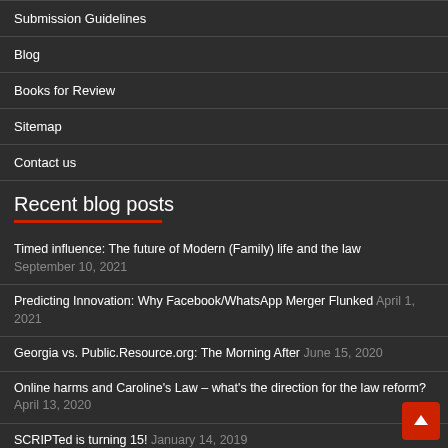Submission Guidelines
Blog
Books for Review
Sitemap
Contact us
Recent blog posts
Timed influence: The future of Modern (Family) life and the law September 10, 2021
Predicting Innovation: Why Facebook/WhatsApp Merger Flunked April 1, 2021
Georgia vs. Public.Resource.org: The Morning After June 15, 2020
Online harms and Caroline's Law – what's the direction for the law reform? April 13, 2020
SCRIPTed is turning 15! January 14, 2019